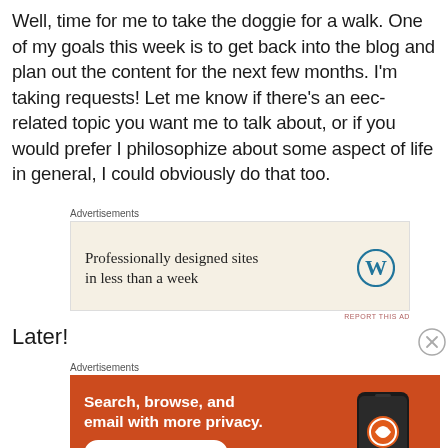Well, time for me to take the doggie for a walk. One of my goals this week is to get back into the blog and plan out the content for the next few months. I'm taking requests! Let me know if there's an eec-related topic you want me to talk about, or if you would prefer I philosophize about some aspect of life in general, I could obviously do that too.
[Figure (other): WordPress advertisement banner with beige background. Text reads 'Professionally designed sites in less than a week' with WordPress logo on the right. 'Advertisements' label above. 'REPORT THIS AD' link below.]
Later!
[Figure (other): DuckDuckGo advertisement banner with orange background. Text reads 'Search, browse, and email with more privacy. All in One Free App' with a phone showing the DuckDuckGo app on the right. 'Advertisements' label above. 'REPORT THIS AD' link below.]